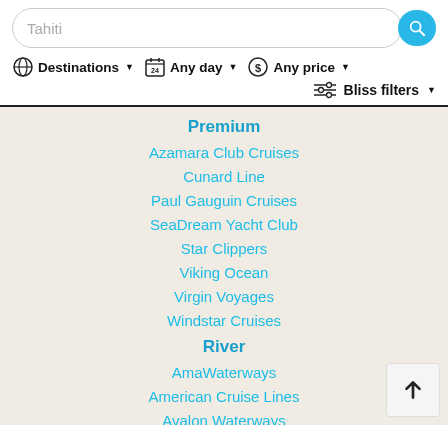Tahiti
Destinations ▾
Any day ▾
Any price ▾
Bliss filters ▾
Premium
Azamara Club Cruises
Cunard Line
Paul Gauguin Cruises
SeaDream Yacht Club
Star Clippers
Viking Ocean
Virgin Voyages
Windstar Cruises
River
AmaWaterways
American Cruise Lines
Avalon Waterways
Scenic
Tauck River Cruises
Viking River
Uniworld
Adventure
Lindblad Expeditions